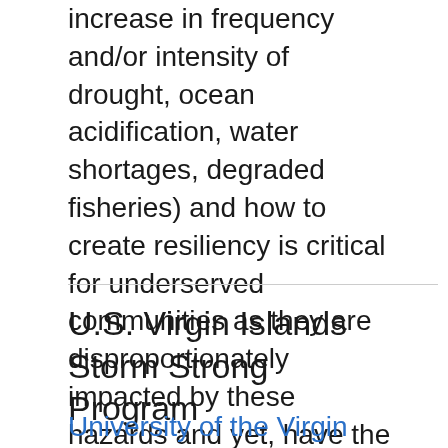increase in frequency and/or intensity of drought, ocean acidification, water shortages, degraded fisheries) and how to create resiliency is critical for underserved communities as they are disproportionately impacted by these hazards and yet, have the least capacity to actively respond.
Show More ▼
U.S. Virgin Islands Storm Strong Program
University of the Virgin Islands / Center for Marine and